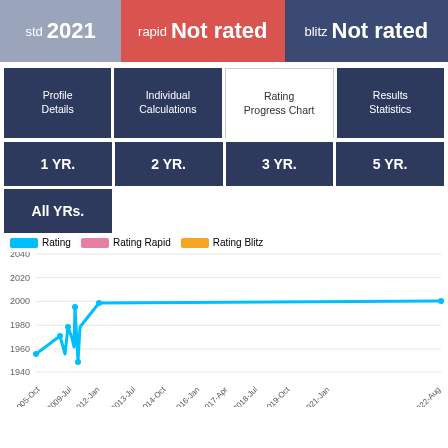std 2021 | rapid Not rated | blitz Not rated
Profile Details | Individual Calculations | Rating Progress Chart | Results Statistics
1 YR. | 2 YR. | 3 YR. | 5 YR. | All YRs.
[Figure (line-chart): Rating Progress Chart]